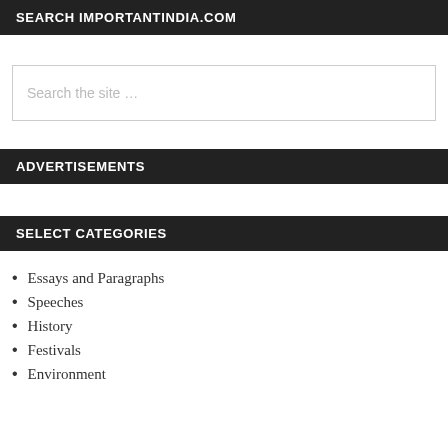SEARCH IMPORTANTINDIA.COM
Search the site ...
ADVERTISEMENTS
SELECT CATEGORIES
Essays and Paragraphs
Speeches
History
Festivals
Environment